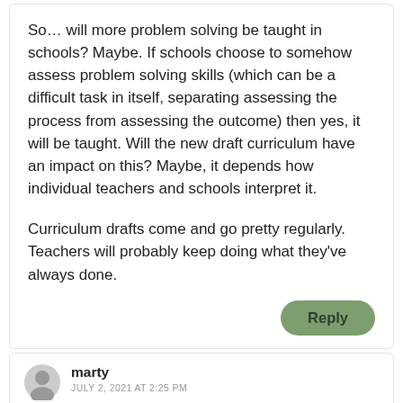So… will more problem solving be taught in schools? Maybe. If schools choose to somehow assess problem solving skills (which can be a difficult task in itself, separating assessing the process from assessing the outcome) then yes, it will be taught. Will the new draft curriculum have an impact on this? Maybe, it depends how individual teachers and schools interpret it.
Curriculum drafts come and go pretty regularly. Teachers will probably keep doing what they've always done.
Reply
marty
JULY 2, 2021 AT 2:25 PM